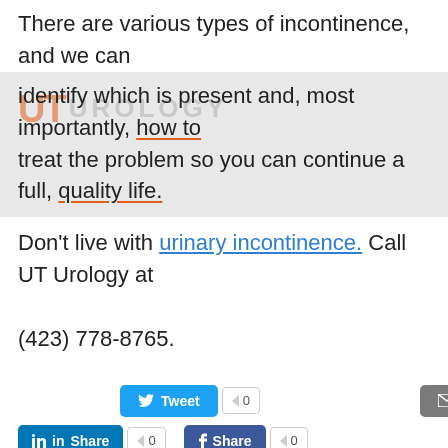There are various types of incontinence, and we can identify which is present and, most importantly, how to treat the problem so you can continue a full, quality life.
Don't live with urinary incontinence. Call UT Urology at (423) 778-8765.
[Figure (screenshot): Social sharing buttons: Tweet (0), Email (0), LinkedIn Share (0), Facebook Share (0)]
Share this:
[Figure (infographic): Circle social media icons: Facebook, Twitter, LinkedIn, Pinterest]
CATEGORIES